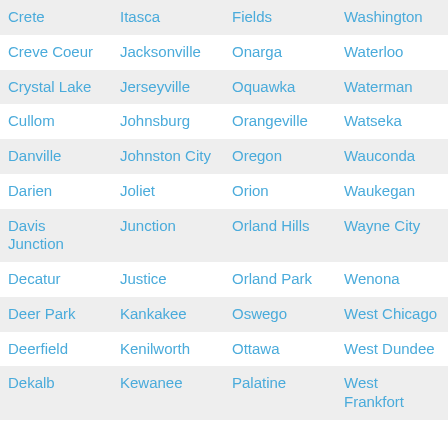| Crete | Itasca | Fields | Washington |
| Creve Coeur | Jacksonville | Onarga | Waterloo |
| Crystal Lake | Jerseyville | Oquawka | Waterman |
| Cullom | Johnsburg | Orangeville | Watseka |
| Danville | Johnston City | Oregon | Wauconda |
| Darien | Joliet | Orion | Waukegan |
| Davis Junction | Junction | Orland Hills | Wayne City |
| Decatur | Justice | Orland Park | Wenona |
| Deer Park | Kankakee | Oswego | West Chicago |
| Deerfield | Kenilworth | Ottawa | West Dundee |
| Dekalb | Kewanee | Palatine | West Frankfort |